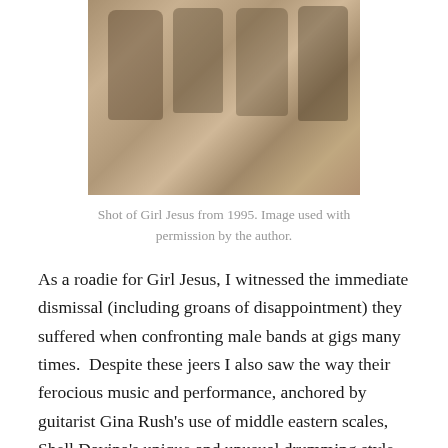[Figure (photo): Black and white sepia-toned newspaper photograph of Girl Jesus band members, four people standing together, taken in 1995.]
Shot of Girl Jesus from 1995. Image used with permission by the author.
As a roadie for Girl Jesus, I witnessed the immediate dismissal (including groans of disappointment) they suffered when confronting male bands at gigs many times.  Despite these jeers I also saw the way their ferocious music and performance, anchored by guitarist Gina Rush's use of middle eastern scales, Shell Davina's unique and unusual drumming style, and Grit Maldonado's flamenco-like bass lines, reduced many male bands to